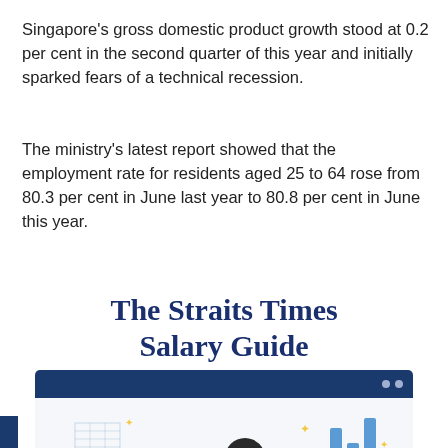Singapore's gross domestic product growth stood at 0.2 per cent in the second quarter of this year and initially sparked fears of a technical recession.
The ministry's latest report showed that the employment rate for residents aged 25 to 64 rose from 80.3 per cent in June last year to 80.8 per cent in June this year.
The Straits Times Salary Guide
[Figure (illustration): Illustrated graphic showing 'The Straits Times Salary Guide' with a browser window frame containing illustrations of office workers, people running, bar charts, and workplace scenes in blue and yellow color scheme.]